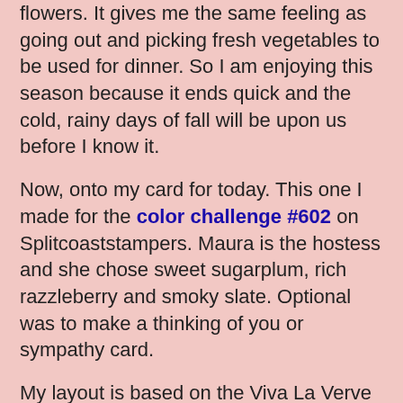flowers. It gives me the same feeling as going out and picking fresh vegetables to be used for dinner. So I am enjoying this season because it ends quick and the cold, rainy days of fall will be upon us before I know it.
Now, onto my card for today. This one I made for the color challenge #602 on Splitcoaststampers. Maura is the hostess and she chose sweet sugarplum, rich razzleberry and smoky slate. Optional was to make a thinking of you or sympathy card.
My layout is based on the Viva La Verve September sketch. The sketch was an angled panel, which I love, but with my diagonal background paper it just didn't look right. So I straightened out my rich razzleberry panel and then stamped my sentiment on an angle.
The background designer paper is from the Stampin'-Up 2016-2018 in-color paper pack. Cut my rich razzleberry panel and the smoky slate circles with CottageCutz stitched rectangle and circle dies.
My stamp used a sentiment from the large Framelits!!!